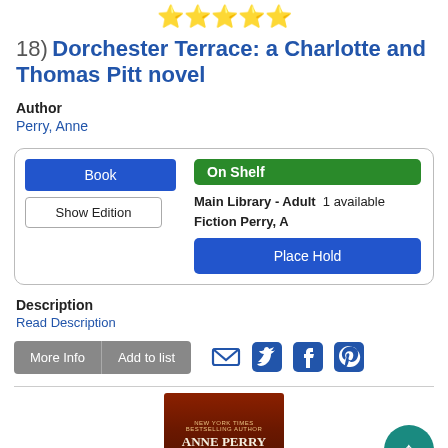[Figure (other): Five yellow star rating icons]
18) Dorchester Terrace: a Charlotte and Thomas Pitt novel
Author
Perry, Anne
Book | Show Edition | On Shelf | Main Library - Adult 1 available | Fiction Perry, A | Place Hold
Description
Read Description
More Info | Add to list
[Figure (illustration): Book cover for Anne Perry Callander Square novel with dark red background]